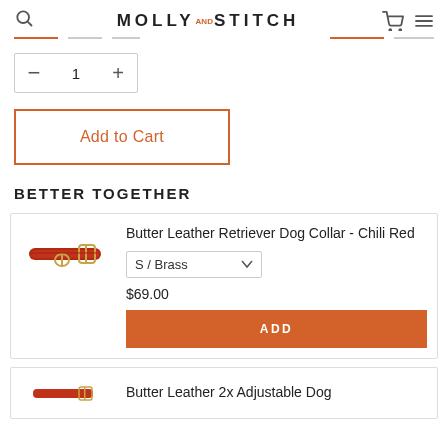MOLLY AND STITCH
— 1 +
Add to Cart
BETTER TOGETHER
Butter Leather Retriever Dog Collar - Chili Red
S / Brass
$69.00
ADD
Butter Leather 2x Adjustable Dog